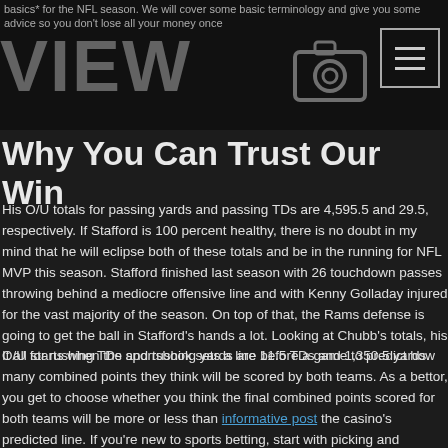basics* for the NFL season. We will cover some basic terminology and give you some advice so you don't lose all your money once
Why You Can Trust Our Win
His O/U totals for passing yards and passing TDs are 4,595.5 and 29.5, respectively. If Stafford is 100 percent healthy, there is no doubt in my mind that he will eclipse both of these totals and be in the running for NFL MVP this season. Stafford finished last season with 26 touchdown passes throwing behind a mediocre offensive line and with Kenny Golladay injured for the vast majority of the season. On top of that, the Rams defense is going to get the ball in Stafford’s hands a lot. Looking at Chubb’s totals, his O/U for rushing TDs and rushing yards are 11.5 TDs and 1,350.5 yards.
It all starts when the sportsbook sets a line before a game to predict how many combined points they think will be scored by both teams. As a bettor, you get to choose whether you think the final combined points scored for both teams will be more or less than informative post the casino’s predicted line. If you’re new to sports betting, start with picking and choosing games you’re convinced should go under and get an understanding of how late